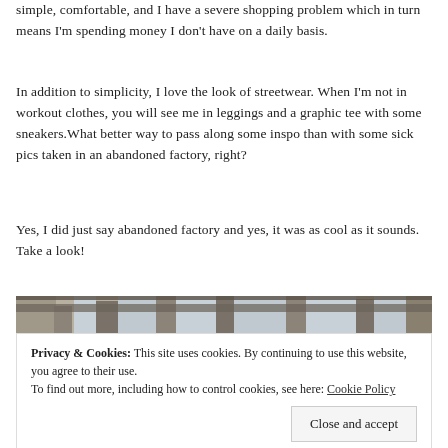simple, comfortable, and I have a severe shopping problem which in turn means I'm spending money I don't have on a daily basis.
In addition to simplicity, I love the look of streetwear. When I'm not in workout clothes, you will see me in leggings and a graphic tee with some sneakers.What better way to pass along some inspo than with some sick pics taken in an abandoned factory, right?
Yes, I did just say abandoned factory and yes, it was as cool as it sounds. Take a look!
[Figure (photo): Abandoned factory interior with graffiti-covered concrete walls and metal beams, viewed from inside.]
Privacy & Cookies: This site uses cookies. By continuing to use this website, you agree to their use.
To find out more, including how to control cookies, see here: Cookie Policy
Close and accept